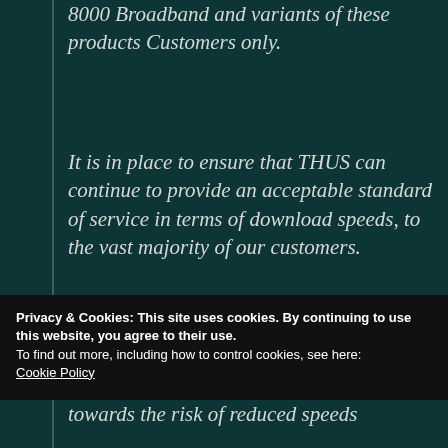8000 Broadband and variants of these products Customers only.
It is in place to ensure that THUS can continue to provide an acceptable standard of service in terms of download speeds, to the vast majority of our customers.
THUS will continually measure the performance of our broadband
Privacy & Cookies: This site uses cookies. By continuing to use this website, you agree to their use.
To find out more, including how to control cookies, see here:
Cookie Policy
towards the risk of reduced speeds